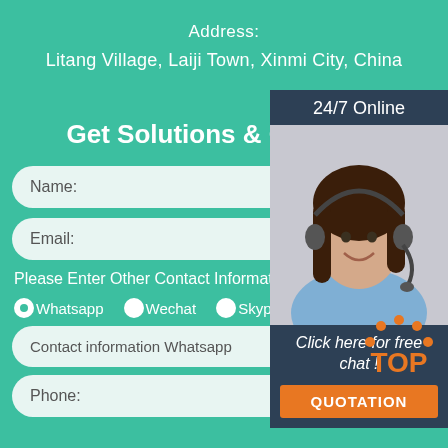Address:
Litang Village, Laiji Town, Xinmi City, China
Get Solutions & Quotation
Name:
Email:
Please Enter Other Contact Information
Whatsapp  Wechat  Skype  Viber
Contact information Whatsapp
Phone:
[Figure (infographic): 24/7 Online support widget with photo of female customer service agent wearing headset, 'Click here for free chat!' text, and orange QUOTATION button]
[Figure (illustration): Orange TOP scroll-to-top button with dots arranged in a semicircle above the text TOP]